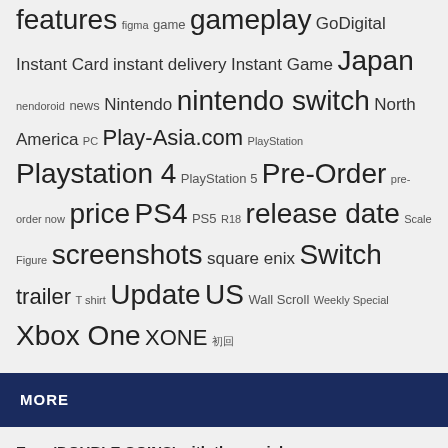features figma game gameplay GoDigital Instant Card instant delivery Instant Game Japan nendoroid news Nintendo nintendo switch North America PC Play-Asia.com PlayStation Playstation 4 PlayStation 5 Pre-Order pre-order now price PS4 PS5 R18 release date Scale Figure screenshots square enix Switch trailer T shirt Update US Wall Scroll Weekly Special Xbox One XONE 初回
MORE
Earn 'DOUBLE COINS' with these picks